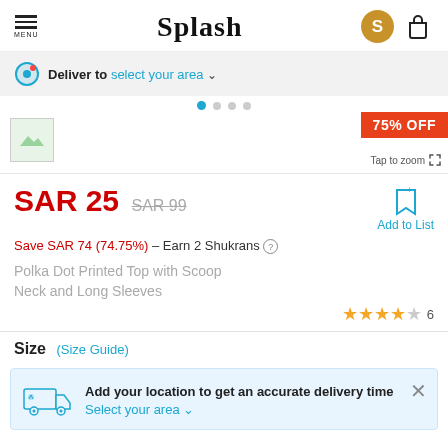Splash — Menu, Logo, User, Bag
Deliver to select your area
[Figure (screenshot): Product image thumbnail with 75% OFF badge and Tap to zoom option]
SAR 25  SAR 99
Add to List
Save SAR 74 (74.75%) – Earn 2 Shukrans
Polka Dot Printed Top with Scoop Neck and Long Sleeves
★★★★☆ 6
Size (Size Guide)
Add your location to get an accurate delivery time
Select your area